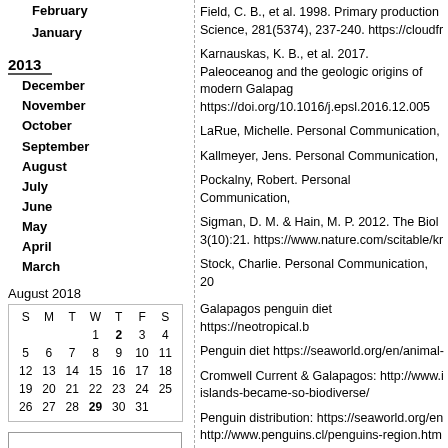February
January
2013
December
November
October
September
August
July
June
May
April
March
| S | M | T | W | T | F | S |
| --- | --- | --- | --- | --- | --- | --- |
|  |  |  | 1 | 2 | 3 | 4 |
| 5 | 6 | 7 | 8 | 9 | 10 | 11 |
| 12 | 13 | 14 | 15 | 16 | 17 | 18 |
| 19 | 20 | 21 | 22 | 23 | 24 | 25 |
| 26 | 27 | 28 | 29 | 30 | 31 |  |
Field, C. B., et al. 1998. Primary production Science, 281(5374), 237-240. https://cloudfr
Karnauskas, K. B., et al. 2017. Paleoceanog and the geologic origins of modern Galapag https://doi.org/10.1016/j.epsl.2016.12.005
LaRue, Michelle. Personal Communication,
Kallmeyer, Jens. Personal Communication,
Pockalny, Robert. Personal Communication,
Sigman, D. M. & Hain, M. P. 2012. The Biol 3(10):21. https://www.nature.com/scitable/kr
Stock, Charlie. Personal Communication, 20
Galapagos penguin diet https://neotropical.b
Penguin diet https://seaworld.org/en/animal-
Cromwell Current & Galapagos: http://www.i islands-became-so-biodiverse/
Penguin distribution: https://seaworld.org/en http://www.penguins.cl/penguins-region.htm
Ocean productivity: https://ci.coastal.edu/~s
Direct download: Why_Are_There_Penguins_At_Th Category:general -- posted at: 5:11pm EDT